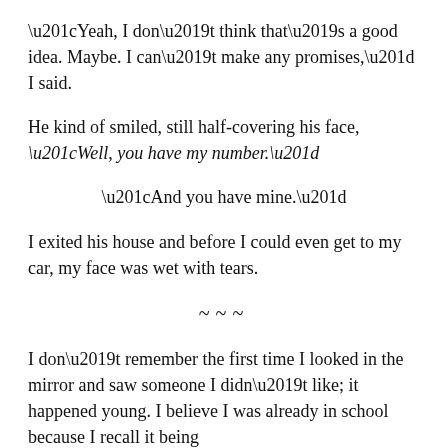“Yeah, I don’t think that’s a good idea. Maybe. I can’t make any promises,” I said.
He kind of smiled, still half-covering his face, “Well, you have my number.”
“And you have mine.”
I exited his house and before I could even get to my car, my face was wet with tears.
~~~
I don’t remember the first time I looked in the mirror and saw someone I didn’t like; it happened young. I believe I was already in school because I recall it being